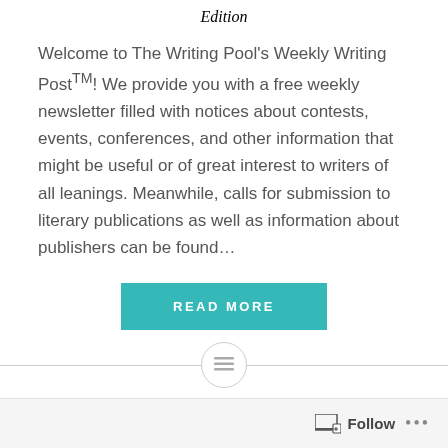Edition
Welcome to The Writing Pool's Weekly Writing PostTM! We provide you with a free weekly newsletter filled with notices about contests, events, conferences, and other information that might be useful or of great interest to writers of all leanings. Meanwhile, calls for submission to literary publications as well as information about publishers can be found...
READ MORE
Follow ...